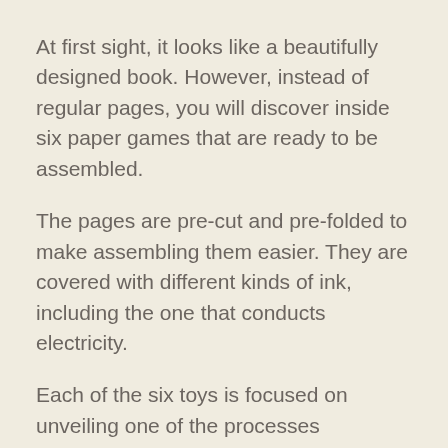At first sight, it looks like a beautifully designed book. However, instead of regular pages, you will discover inside six paper games that are ready to be assembled.
The pages are pre-cut and pre-folded to make assembling them easier. They are covered with different kinds of ink, including the one that conducts electricity.
Each of the six toys is focused on unveiling one of the processes electronic devices rely on: resistance, gyroscope, playing a track, wind sensor, writing track, and tilt switch.
→ MORE INFO